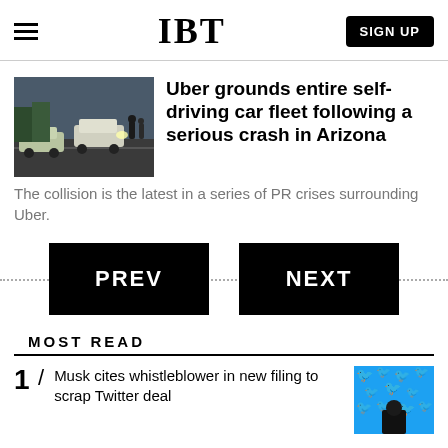IBT
[Figure (photo): Cars involved in a crash on a street at dusk, people standing around]
Uber grounds entire self-driving car fleet following a serious crash in Arizona
The collision is the latest in a series of PR crises surrounding Uber.
PREV
NEXT
MOST READ
Musk cites whistleblower in new filing to scrap Twitter deal
[Figure (photo): Twitter logo pattern on blue background with a person in dark clothing]